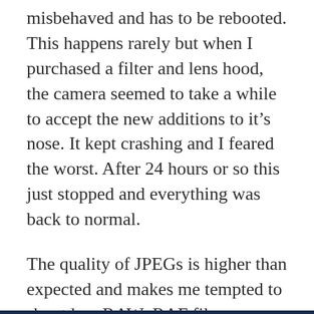misbehaved and has to be rebooted. This happens rarely but when I purchased a filter and lens hood, the camera seemed to take a while to accept the new additions to it’s nose. It kept crashing and I feared the worst. After 24 hours or so this just stopped and everything was back to normal.
The quality of JPEGs is higher than expected and makes me tempted to shoot less RAW .RAF files, especially if travelling light. Revel does not accept RAW, so there is an added temptation. However, I really worry